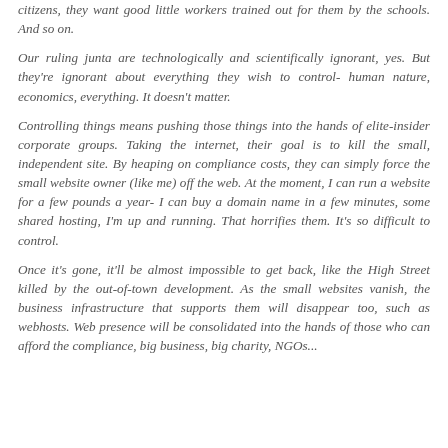citizens, they want good little workers trained out for them by the schools. And so on.
Our ruling junta are technologically and scientifically ignorant, yes. But they're ignorant about everything they wish to control- human nature, economics, everything. It doesn't matter.
Controlling things means pushing those things into the hands of elite-insider corporate groups. Taking the internet, their goal is to kill the small, independent site. By heaping on compliance costs, they can simply force the small website owner (like me) off the web. At the moment, I can run a website for a few pounds a year- I can buy a domain name in a few minutes, some shared hosting, I'm up and running. That horrifies them. It's so difficult to control.
Once it's gone, it'll be almost impossible to get back, like the High Street killed by the out-of-town development. As the small websites vanish, the business infrastructure that supports them will disappear too, such as webhosts. Web presence will be consolidated into the hands of those who can afford the compliance, big business, big charity, NGOs...